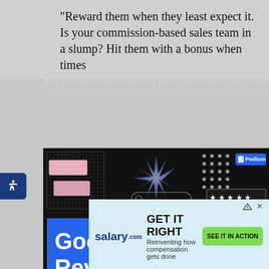“Reward them when they least expect it. Is your commission-based sales team in a slump? Hit them with a bonus when times…
[Figure (screenshot): Podium Google Reviews 101 promotional banner on dark background with decorative elements including starburst, grid, pink rectangles, dots, search bar, star rating box, and wavy pattern]
[Figure (screenshot): Salary.com advertisement: GET IT RIGHT - Reinventing how compensation gets done, with SEE IT IN ACTION green button]